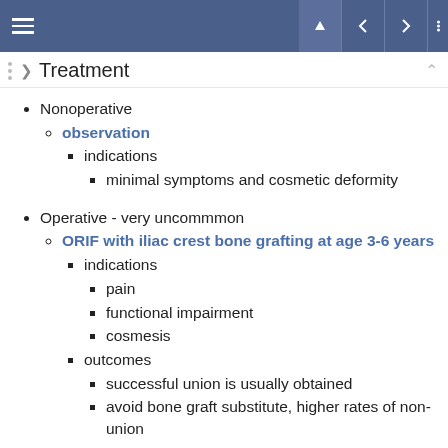Treatment
Nonoperative
observation
indications
minimal symptoms and cosmetic deformity
Operative - very uncommmon
ORIF with iliac crest bone grafting at age 3-6 years
indications
pain
functional impairment
cosmesis
outcomes
successful union is usually obtained
avoid bone graft substitute, higher rates of non-union